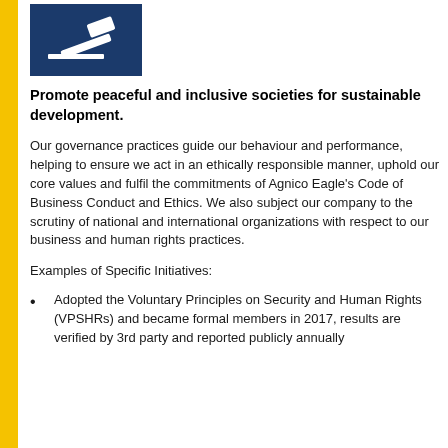[Figure (illustration): Dark blue square icon with a white gavel/hammer symbol representing justice or governance]
Promote peaceful and inclusive societies for sustainable development.
Our governance practices guide our behaviour and performance, helping to ensure we act in an ethically responsible manner, uphold our core values and fulfil the commitments of Agnico Eagle's Code of Business Conduct and Ethics. We also subject our company to the scrutiny of national and international organizations with respect to our business and human rights practices.
Examples of Specific Initiatives:
Adopted the Voluntary Principles on Security and Human Rights (VPSHRs) and became formal members in 2017, results are verified by 3rd party and reported publicly annually